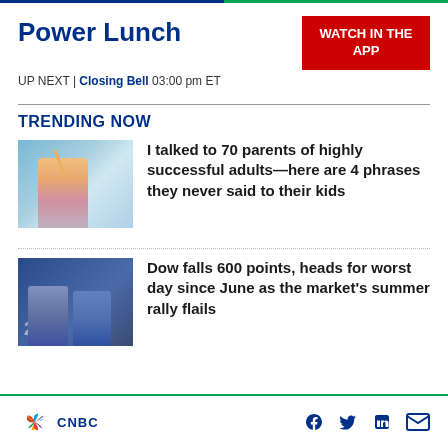Power Lunch
WATCH IN THE APP
UP NEXT | Closing Bell 03:00 pm ET
TRENDING NOW
[Figure (photo): Child with arm raised against a waterfront background]
I talked to 70 parents of highly successful adults—here are 4 phrases they never said to their kids
[Figure (photo): Stock market traders on the trading floor]
Dow falls 600 points, heads for worst day since June as the market's summer rally flails
CNBC — Facebook, Twitter, LinkedIn, Email